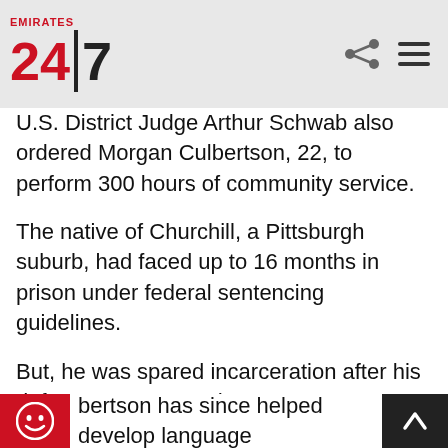Emirates 24|7
U.S. District Judge Arthur Schwab also ordered Morgan Culbertson, 22, to perform 300 hours of community service.
The native of Churchill, a Pittsburgh suburb, had faced up to 16 months in prison under federal sentencing guidelines.
But, he was spared incarceration after his defense attorney and prosecutors acknowledged his lack of a criminal record and efforts to use his prodigious computer skills constructively since he was charged in July 2015.
bertson has since helped develop language